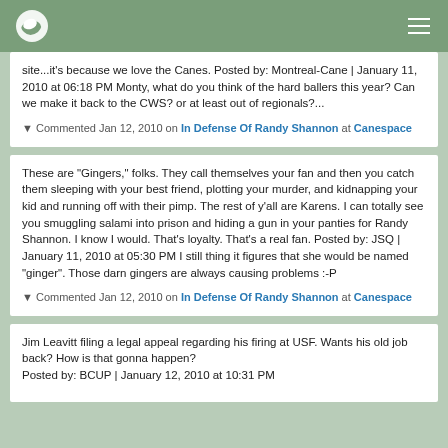site...it's because we love the Canes. Posted by: Montreal-Cane | January 11, 2010 at 06:18 PM Monty, what do you think of the hard ballers this year? Can we make it back to the CWS? or at least out of regionals?...
▼ Commented Jan 12, 2010 on In Defense Of Randy Shannon at Canespace
These are "Gingers," folks. They call themselves your fan and then you catch them sleeping with your best friend, plotting your murder, and kidnapping your kid and running off with their pimp. The rest of y'all are Karens. I can totally see you smuggling salami into prison and hiding a gun in your panties for Randy Shannon. I know I would. That's loyalty. That's a real fan. Posted by: JSQ | January 11, 2010 at 05:30 PM I still thing it figures that she would be named "ginger". Those darn gingers are always causing problems :-P
▼ Commented Jan 12, 2010 on In Defense Of Randy Shannon at Canespace
Jim Leavitt filing a legal appeal regarding his firing at USF. Wants his old job back? How is that gonna happen? Posted by: BCUP | January 12, 2010 at 10:31 PM